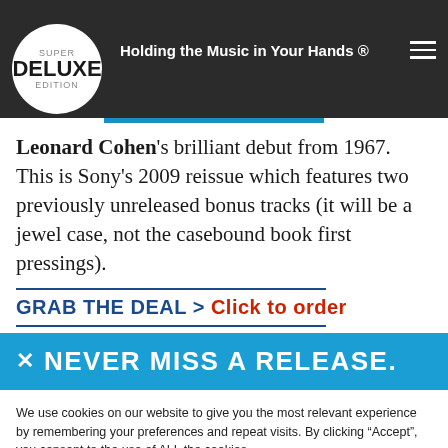Super Deluxe Edition — Holding the Music in Your Hands ®
Leonard Cohen's brilliant debut from 1967. This is Sony's 2009 reissue which features two previously unreleased bonus tracks (it will be a jewel case, not the casebound book first pressings).
GRAB THE DEAL > Click to order
[Figure (other): Blue promotional banner with close X button and text NEVER MISS A RELEASE.]
We use cookies on our website to give you the most relevant experience by remembering your preferences and repeat visits. By clicking "Accept", you consent to the use of ALL the cookies.
Cookie settings | ACCEPT